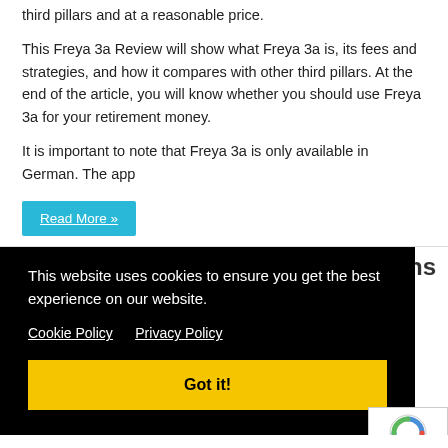third pillars and at a reasonable price.
This Freya 3a Review will show what Freya 3a is, its fees and strategies, and how it compares with other third pillars. At the end of the article, you will know whether you should use Freya 3a for your retirement money.
It is important to note that Freya 3a is only available in German. The app
Read More »
ns
This website uses cookies to ensure you get the best experience on our website.
Cookie Policy   Privacy Policy
Got it!
more and more new Robo Advisor available for Swiss